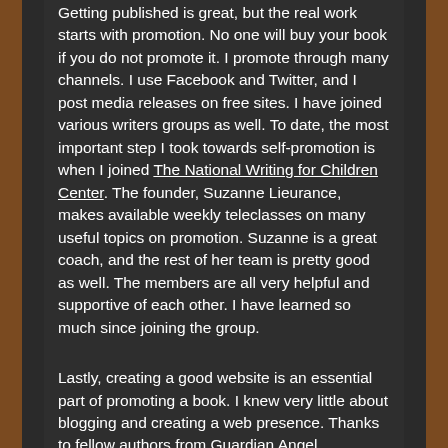Getting published is great, but the real work starts with promotion. No one will buy your book if you do not promote it. I promote through many channels. I use Facebook and Twitter, and I post media releases on free sites. I have joined various writers groups as well. To date, the most important step I took towards self-promotion is when I joined The National Writing for Children Center. The founder, Suzanne Lieurance, makes available weekly teleclasses on many useful topics on promotion. Suzanne is a great coach, and the rest of her team is pretty good as well. The members are all very helpful and supportive of each other. I have learned so much since joining the group.
Lastly, creating a good website is an essential part of promoting a book. I knew very little about blogging and creating a web presence. Thanks to fellow authors from Guardian Angel Publishing I have learned a ton about blogging and creating a web presence. I work hard every day to overcome challenges, but I still have a lot to learn. I am thankful to my friends at Guardian Angel...